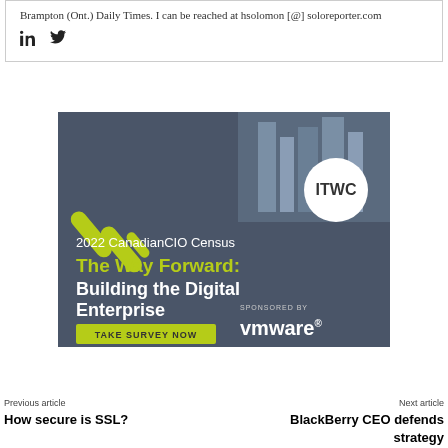Brampton (Ont.) Daily Times. I can be reached at hsolomon [@] soloreporter.com
[Figure (illustration): Advertisement for 2022 CanadianCIO Census titled 'The Way Forward: Building the Digital Enterprise', sponsored by VMware, with a 'Take Survey Now' button and ITWC logo, dark blue-grey background with green accent graphics.]
Previous article
How secure is SSL?
Next article
BlackBerry CEO defends strategy